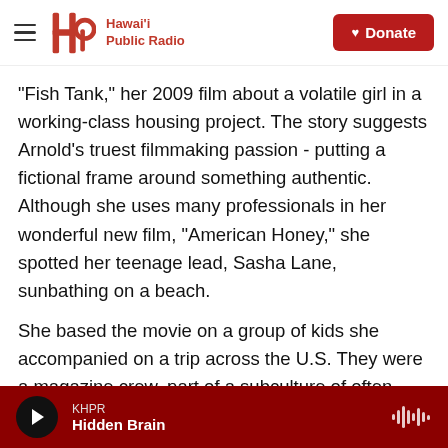Hawai'i Public Radio — Donate
"Fish Tank," her 2009 film about a volatile girl in a working-class housing project. The story suggests Arnold's truest filmmaking passion - putting a fictional frame around something authentic. Although she uses many professionals in her wonderful new film, "American Honey," she spotted her teenage lead, Sasha Lane, sunbathing on a beach.
She based the movie on a group of kids she accompanied on a trip across the U.S. They were a magazine crew, part of a subculture of often homeless teens who travel together by bus,
KHPR — Hidden Brain